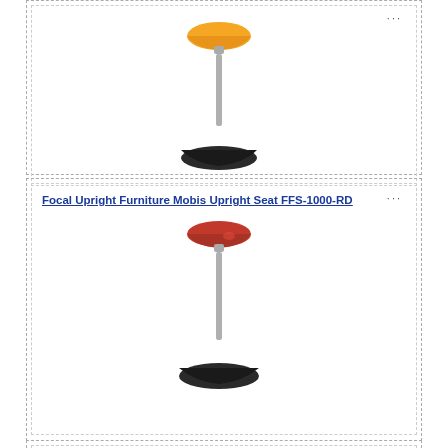[Figure (photo): Orange Focal Upright Mobis seat on adjustable pole with round black base]
Focal Upright Furniture Mobis Upright Seat FFS-1000-RD
[Figure (photo): Red Focal Upright Mobis seat on adjustable pole with round black base]
Focal Upright Furniture Locus Leaning Seat FLT-1000-WH-NB